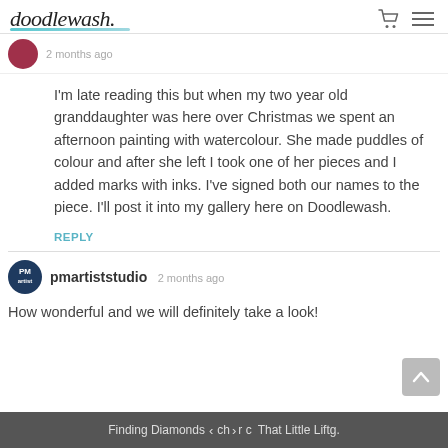doodlewash.
I'm late reading this but when my two year old granddaughter was here over Christmas we spent an afternoon painting with watercolour. She made puddles of colour and after she left I took one of her pieces and I added marks with inks. I've signed both our names to the piece. I'll post it into my gallery here on Doodlewash.
REPLY
pmartiststudio 2 months ago
How wonderful and we will definitely take a look!
Finding Diamonds  < ch > r c  That Little Lift  g.